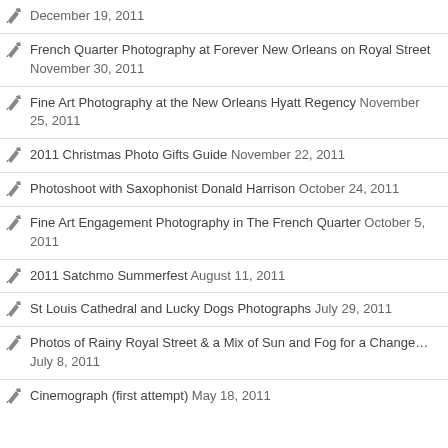December 19, 2011
French Quarter Photography at Forever New Orleans on Royal Street November 30, 2011
Fine Art Photography at the New Orleans Hyatt Regency November 25, 2011
2011 Christmas Photo Gifts Guide November 22, 2011
Photoshoot with Saxophonist Donald Harrison October 24, 2011
Fine Art Engagement Photography in The French Quarter October 5, 2011
2011 Satchmo Summerfest August 11, 2011
St Louis Cathedral and Lucky Dogs Photographs July 29, 2011
Photos of Rainy Royal Street & a Mix of Sun and Fog for a Change… July 8, 2011
Cinemograph (first attempt) May 18, 2011